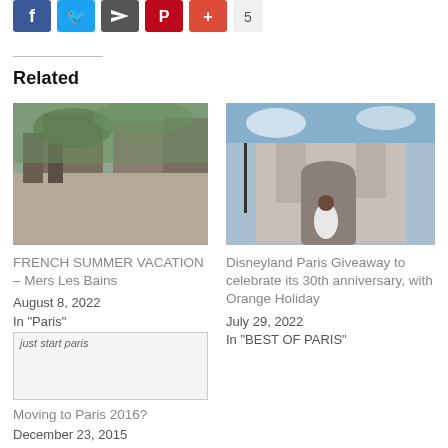[Figure (other): Social media share buttons: Facebook (blue), Twitter (blue), share arrow (dark), Pinterest (red), Google+ (red), and one more icon]
Related
[Figure (photo): Photo of a French street scene with historic buildings covered in greenery, Mers Les Bains]
FRENCH SUMMER VACATION – Mers Les Bains
August 8, 2022
In "Paris"
[Figure (photo): Photo of a woman in white standing in front of Disneyland Paris castle]
Disneyland Paris Giveaway to celebrate its 30th anniversary, with Orange Holiday
July 29, 2022
In "BEST OF PARIS"
[Figure (photo): just start paris - image placeholder]
Moving to Paris 2016?
December 23, 2015